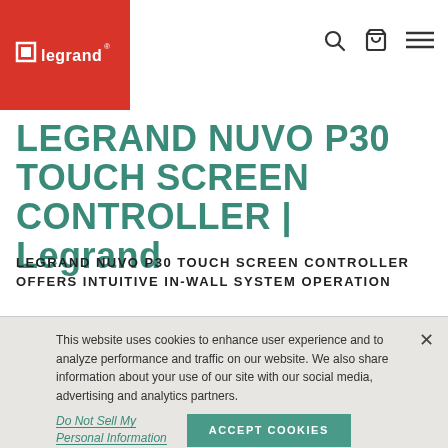Legrand logo and navigation
LEGRAND NUVO P30 TOUCH SCREEN CONTROLLER | Legrand
LEGRAND NUVO P30 TOUCH SCREEN CONTROLLER OFFERS INTUITIVE IN-WALL SYSTEM OPERATION
This website uses cookies to enhance user experience and to analyze performance and traffic on our website. We also share information about your use of our site with our social media, advertising and analytics partners.
Do Not Sell My Personal Information
ACCEPT COOKIES